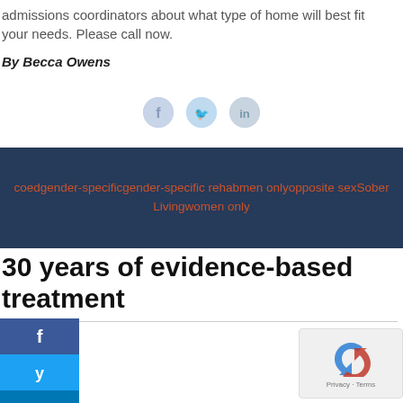admissions coordinators about what type of home will best fit your needs. Please call now.
By Becca Owens
[Figure (infographic): Social share icons: Facebook, Twitter, LinkedIn circles in light blue/gray colors]
[Figure (infographic): Dark navy banner with orange text listing categories: coedgender-specificgender-specific rehabmen onlyopposite sexSober Livingwomen only]
30 years of evidence-based treatment
[Figure (infographic): Social share buttons: Facebook (dark blue), Twitter (light blue), LinkedIn (blue) with icons]
[Figure (infographic): reCAPTCHA widget with spinning arrow icon and Privacy - Terms text]